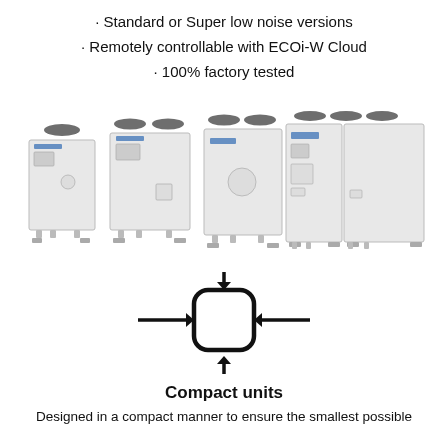· Standard or Super low noise versions
· Remotely controllable with ECOi-W Cloud
· 100% factory tested
[Figure (photo): Four Panasonic ECOi-W air-cooled chiller units of increasing size shown side by side, all white/light grey with fan units on top]
[Figure (illustration): Compact unit icon: a rounded square with four arrows pointing inward from all four sides (top, bottom, left, right), indicating compact dimensions]
Compact units
Designed in a compact manner to ensure the smallest possible